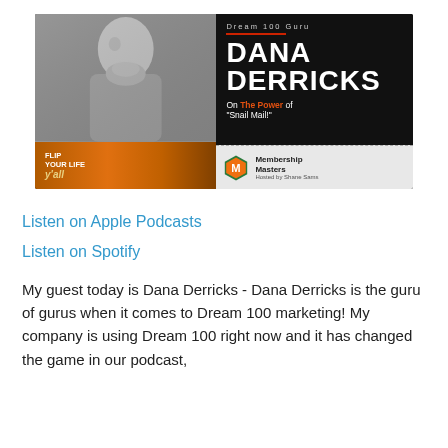[Figure (photo): Podcast promotional image for Membership Masters podcast featuring Dana Derricks - Dream 100 Guru. Left side shows black and white photo of a man and an orange-tinted lower panel with 'FLIP YOUR LIFE y'all' text. Right side has dark background with text 'Dream 100 Guru', 'DANA DERRICKS', 'On The Power of "Snail Mail!"' and Membership Masters logo hosted by Shane Sams.]
Listen on Apple Podcasts
Listen on Spotify
My guest today is Dana Derricks - Dana Derricks is the guru of gurus when it comes to Dream 100 marketing! My company is using Dream 100 right now and it has changed the game in our podcast,